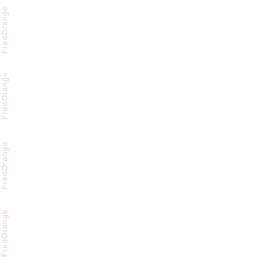[Figure (other): Blank white page with four repeated vertical watermarks reading 'FredOrange' along the left margin, rendered in a light pinkish-beige color, rotated 90 degrees.]